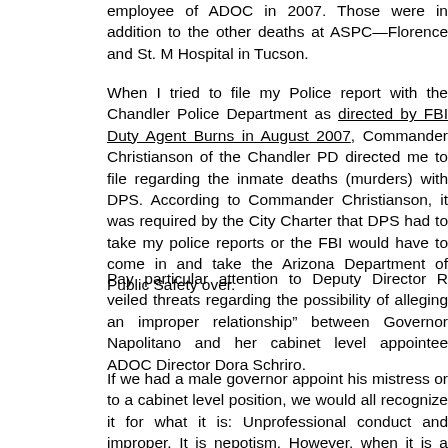employee of ADOC in 2007. Those were in addition to the other deaths at ASPC—Florence and St. M Hospital in Tucson.
When I tried to file my Police report with the Chandler Police Department as directed by FBI Duty Agent Burns in August 2007, Commander Christianson of the Chandler PD directed me to file regarding the inmate deaths (murders) with DPS. According to Commander Christianson, it was required by the City Charter that DPS had to take my police reports or the FBI would have to come in and take the Arizona Department of Public Safety over.
Pay particular attention to Deputy Director R veiled threats regarding the possibility of alleging an improper relationship" between Governor Napolitano and her cabinet level appointee ADOC Director Dora Schriro.
If we had a male governor appoint his mistress or to a cabinet level position, we would all recognize it for what it is: Unprofessional conduct and improper. It is nepotism. However, when it is a lesbian couple, we all become "politically correct" and "sensitive". Heck, we need to call it what it is regardless of the sexual orientation of our Governor!